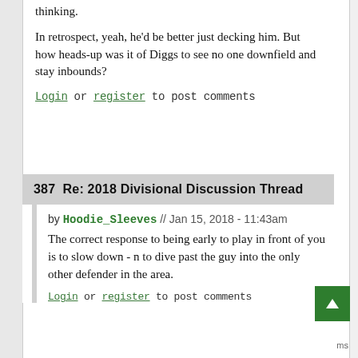thinking.
In retrospect, yeah, he'd be better just decking him. But how heads-up was it of Diggs to see no one downfield and stay inbounds?
Login or register to post comments
387  Re: 2018 Divisional Discussion Thread
by Hoodie_Sleeves // Jan 15, 2018 - 11:43am
The correct response to being early to play in front of you is to slow down - n to dive past the guy into the only other defender in the area.
Login or register to post comments